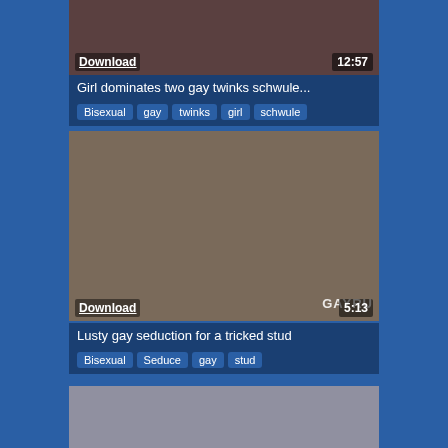[Figure (screenshot): Video thumbnail for first video card showing partial view]
Download
12:57
Girl dominates two gay twinks schwule...
Bisexual   gay   twinks   girl   schwule
[Figure (screenshot): Video thumbnail showing a blonde woman and a shirtless man close-up]
Download
5:13
GAYRU
Lusty gay seduction for a tricked stud
Bisexual   Seduce   gay   stud
[Figure (screenshot): Third video thumbnail showing a person on a bed/floor]